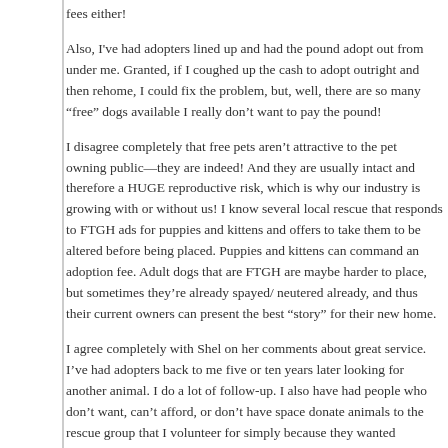fees either!
Also, I've had adopters lined up and had the pound adopt out from un... Granted, if I coughed up the cash to adopt outright and then rehome, I... problem, but, well, there are so many “free” dogs available I really do... the pound!
I disagree completely that free pets aren’t attractive to the pet owning... indeed! And they are usually intact and therefore a HUGE reproductiv... why our industry is growing with or without us! I know several local... responds to FTGH ads for puppies and kittens and offers to take them... altered before being placed. Puppies and kittens can command an ado... dogs that are FTGH are maybe harder to place, but sometimes they’re... neutered already, and thus their current owners can present the best “s... new home.
I agree completely with Shel on her comments about great service. I’v... back to me five or ten years later looking for another animal. I do a lo... also have had people who don’t want, can’t afford, or don’t have spac... to the rescue group that I volunteer for simply because they wanted to... are doing. Money is NOT the issue…the story is the issue. And if peo... “problem” dogs go to the pound…then they don’t want to shop there.